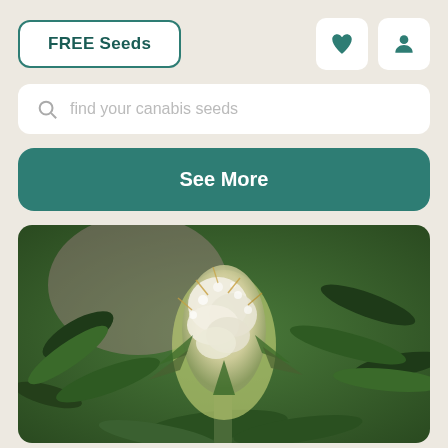FREE Seeds
[Figure (screenshot): Heart icon button and user profile icon button]
find your canabis seeds
See More
[Figure (photo): Close-up photograph of a cannabis plant in flower, with dense white trichome-covered buds surrounded by green leaves]